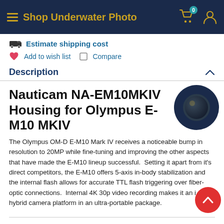Shop Underwater Photo
Estimate shipping cost
Add to wish list   Compare
Description
Nauticam NA-EM10MKIV Housing for Olympus E-M10 MKIV
The Olympus OM-D E-M10 Mark IV receives a noticeable bump in resolution to 20MP while fine-tuning and improving the other aspects that have made the E-M10 lineup successful.  Setting it apart from it's direct competitors, the E-M10 offers 5-axis in-body stabilization and the internal flash allows for accurate TTL flash triggering over fiber-optic connections.  Internal 4K 30p video recording makes it an ideal hybrid camera platform in an ultra-portable package.
The Nauticam NA-EM10IV, similar to the E-M10 Mark IV, builds upon its predecessors to deliver the most intuitive and capable housing for